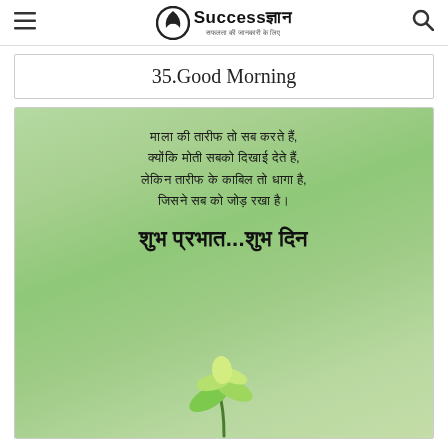≡  SuccessGyan  🔍
35.Good Morning
[Figure (illustration): Green background motivational Hindi quote card with text: माला की तारीफ तो सब करते हैं, क्योंकि मोती सबको दिखाई देते हैं, लेकिन तारीफ के काबिल तो धागा है, जिसने सब को जोड़ रखा है। शुभ प्रभात...शुभ दिन — with a green plant at the bottom]